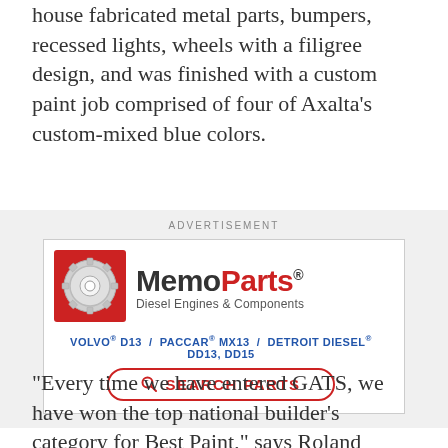house fabricated metal parts, bumpers, recessed lights, wheels with a filigree design, and was finished with a custom paint job comprised of four of Axalta's custom-mixed blue colors.
[Figure (other): Advertisement banner for MemoParts Diesel Engines & Components featuring a gear logo, brand name, engine models (VOLVO D13, PACCAR MX13, DETROIT DIESEL DD13, DD15), and a 'SEARCH PARTS' button.]
“Every time we have entered GATS, we have won the top national builder’s category for Best Paint,” says Roland Mendez, Texas Chrome Owner. With our team of 28, we are a ‘one stop shop’ offering chrome accessories, engine repairs, polishing, welding, fabrication, body and, of course, our trucks